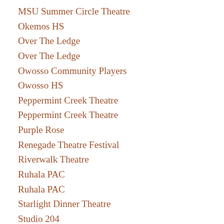MSU Summer Circle Theatre
Okemos HS
Over The Ledge
Over The Ledge
Owosso Community Players
Owosso HS
Peppermint Creek Theatre
Peppermint Creek Theatre
Purple Rose
Renegade Theatre Festival
Riverwalk Theatre
Ruhala PAC
Ruhala PAC
Starlight Dinner Theatre
Studio 204
Studio 707 Productions
Studio 707 Productions
The American Shakespeare Collective
The Capital Players